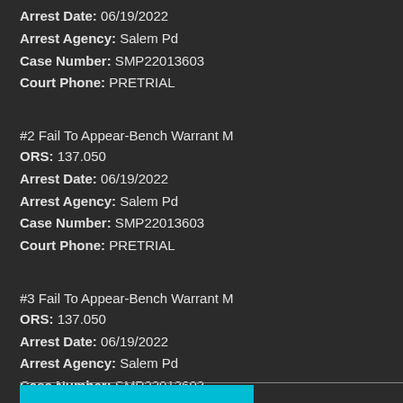Arrest Date: 06/19/2022
Arrest Agency: Salem Pd
Case Number: SMP22013603
Court Phone: PRETRIAL
#2 Fail To Appear-Bench Warrant M
ORS: 137.050
Arrest Date: 06/19/2022
Arrest Agency: Salem Pd
Case Number: SMP22013603
Court Phone: PRETRIAL
#3 Fail To Appear-Bench Warrant M
ORS: 137.050
Arrest Date: 06/19/2022
Arrest Agency: Salem Pd
Case Number: SMP22013603
Court Phone: PRETRIAL